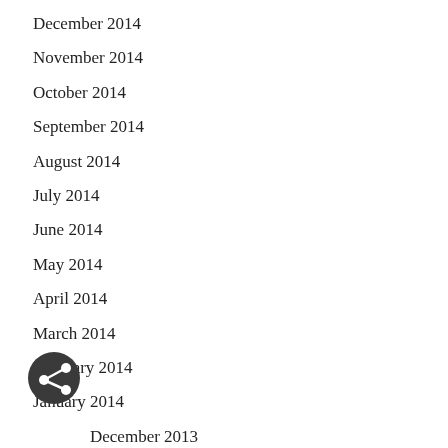December 2014
November 2014
October 2014
September 2014
August 2014
July 2014
June 2014
May 2014
April 2014
March 2014
February 2014
January 2014
December 2013
November 2013
October 2013
[Figure (illustration): A circular dark share button icon with a white share/network symbol in the center, overlapping the 'December 2013' list item.]